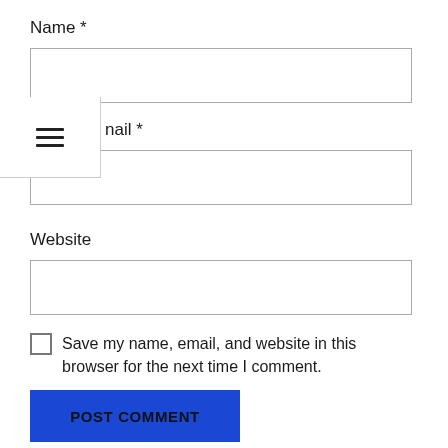Name *
[Figure (screenshot): Empty text input field for Name]
[Figure (other): Hamburger menu icon (three horizontal lines) overlaid on top-left of page]
nail *
[Figure (screenshot): Empty text input field for Email]
Website
[Figure (screenshot): Empty text input field for Website]
Save my name, email, and website in this browser for the next time I comment.
POST COMMENT